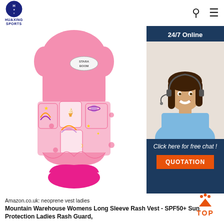HUAXING SPORTS
[Figure (photo): Pink children's float suit / swim vest with foam panels decorated with rainbows, stars, ice cream and moon patterns, with a pink skirt/frill at the bottom. Brand patch reads 'STARA BOOM'.]
[Figure (photo): Side panel advertisement: '24/7 Online' with a smiling female customer service agent wearing a headset, followed by 'Click here for free chat!' and an orange 'QUOTATION' button.]
Amazon.co.uk: neoprene vest ladies Mountain Warehouse Womens Long Sleeve Rash Vest - SPF50+ Sun Protection Ladies Rash Guard,